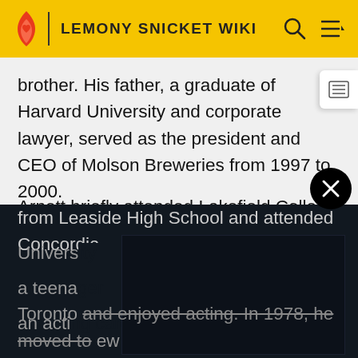LEMONY SNICKET WIKI
brother. His father, a graduate of Harvard University and corporate lawyer, served as the president and CEO of Molson Breweries from 1997 to 2000.
Arnett briefly attended Lakefield College School in Lakefield, Ontario, but was asked not to return after a semester for being a troublemaker. The Subway Academy II allowed him to take theatre classes at the Tarragon Theatre. He eventually graduated from Leaside High School and attended Concordia University [obscured] out. As a teena[obscured] rsue an acti[obscured] Toronto and enjoyed acting. In 1978, he moved to New